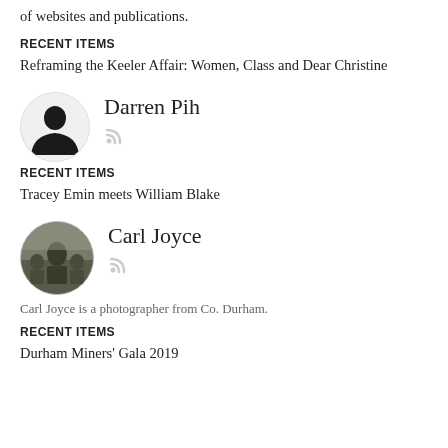of websites and publications.
RECENT ITEMS
Reframing the Keeler Affair: Women, Class and Dear Christine
[Figure (illustration): Circular avatar of Darren Pih — silhouette of a person on light grey background, with RSS icon below]
Darren Pih
RECENT ITEMS
Tracey Emin meets William Blake
[Figure (photo): Circular photo of Carl Joyce — outdoor crowd scene, person in foreground, with RSS icon below]
Carl Joyce
Carl Joyce is a photographer from Co. Durham.
RECENT ITEMS
Durham Miners' Gala 2019